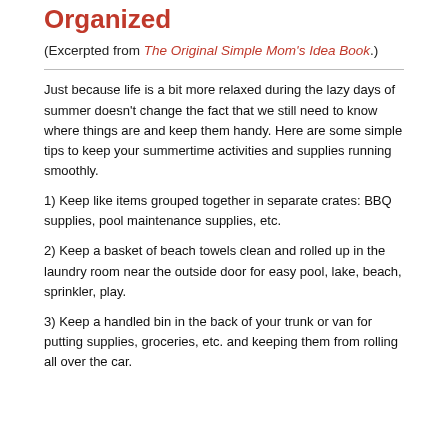Organized
(Excerpted from The Original Simple Mom's Idea Book.)
Just because life is a bit more relaxed during the lazy days of summer doesn't change the fact that we still need to know where things are and keep them handy. Here are some simple tips to keep your summertime activities and supplies running smoothly.
1) Keep like items grouped together in separate crates: BBQ supplies, pool maintenance supplies, etc.
2) Keep a basket of beach towels clean and rolled up in the laundry room near the outside door for easy pool, lake, beach, sprinkler, play.
3) Keep a handled bin in the back of your trunk or van for putting supplies, groceries, etc. and keeping them from rolling all over the car.